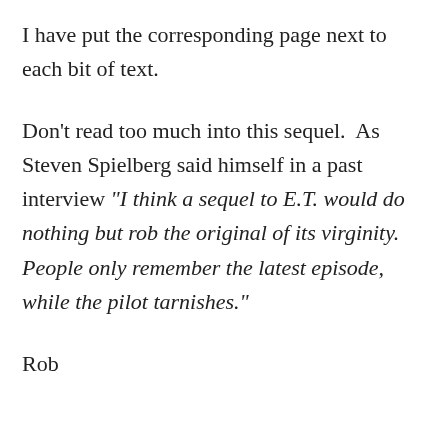I have put the corresponding page next to each bit of text.
Don't read too much into this sequel.  As Steven Spielberg said himself in a past interview "I think a sequel to E.T. would do nothing but rob the original of its virginity. People only remember the latest episode, while the pilot tarnishes."
Rob